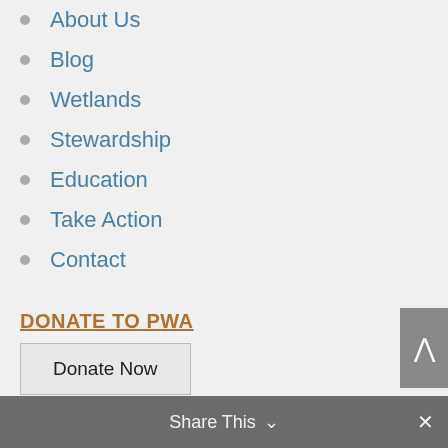About Us
Blog
Wetlands
Stewardship
Education
Take Action
Contact
DONATE TO PWA
Donate Now
Share This ∨  ✕